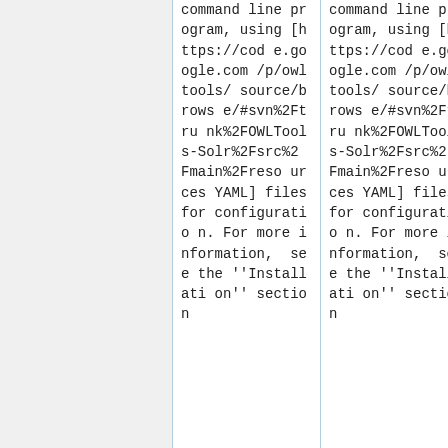command line program, using [https://code.google.com/p/owltools/source/browse/#svn%2Ftrunk%2FOWLTools-Solr%2Fsrc%2Fmain%2Fresources YAML] files for configuration. For more information, see the ''Installation'' section
command line program, using [https://code.google.com/p/owltools/source/browse/#svn%2Ftrunk%2FOWLTools-Solr%2Fsrc%2Fmain%2Fresources YAML] files for configuration. For more information, see the ''Installation'' section